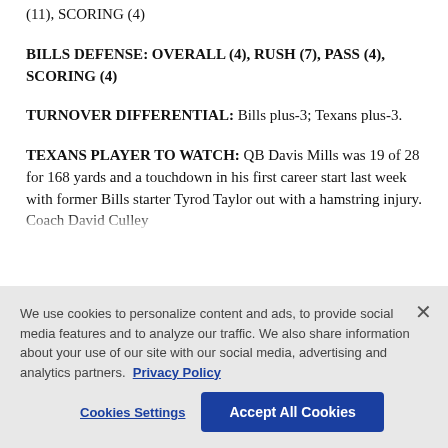(11), SCORING (4)
BILLS DEFENSE: OVERALL (4), RUSH (7), PASS (4), SCORING (4)
TURNOVER DIFFERENTIAL: Bills plus-3; Texans plus-3.
TEXANS PLAYER TO WATCH: QB Davis Mills was 19 of 28 for 168 yards and a touchdown in his first career start last week with former Bills starter Tyrod Taylor out with a hamstring injury. Coach David Culley
We use cookies to personalize content and ads, to provide social media features and to analyze our traffic. We also share information about your use of our site with our social media, advertising and analytics partners. Privacy Policy
Cookies Settings | Accept All Cookies